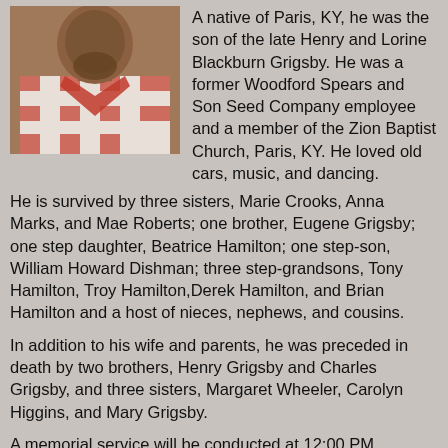[Figure (photo): Portrait photo of a man wearing a red and white checkered shirt/jacket]
A native of Paris, KY, he was the son of the late Henry and Lorine Blackburn Grigsby. He was a former Woodford Spears and Son Seed Company employee and a member of the Zion Baptist Church, Paris, KY. He loved old cars, music, and dancing.
He is survived by three sisters, Marie Crooks, Anna Marks, and Mae Roberts; one brother, Eugene Grigsby; one step daughter, Beatrice Hamilton; one step-son, William Howard Dishman; three step-grandsons, Tony Hamilton, Troy Hamilton,Derek Hamilton, and Brian Hamilton and a host of nieces, nephews, and cousins.
In addition to his wife and parents, he was preceded in death by two brothers, Henry Grigsby and Charles Grigsby, and three sisters, Margaret Wheeler, Carolyn Higgins, and Mary Grigsby.
A memorial service will be conducted at 12:00 PM Thursday, June 16, 2022 at Lusk-McFarland Funeral Home, 1120 Main St., Paris, KY by Rev. Dr. Morgan Gilkey and Rev. Aaron Crumbie.